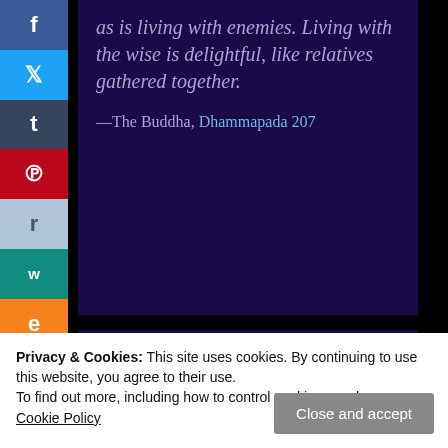as is living with enemies. Living with the wise is delightful, like relatives gathered together.
—The Buddha, Dhammapada 207
Numerology
Numerology's Roots: The
Privacy & Cookies: This site uses cookies. By continuing to use this website, you agree to their use. To find out more, including how to control cookies, see here: Cookie Policy
Close and accept